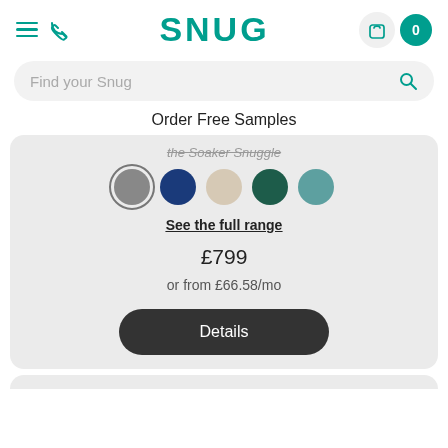SNUG
Find your Snug
Order Free Samples
[Figure (illustration): Five color swatches in a row: grey (selected with ring), dark navy blue, beige/cream, dark teal green, light teal. Part of product color selector. Truncated product title above reads 'the Soaker Snuggle'.]
See the full range
£799
or from £66.58/mo
Details